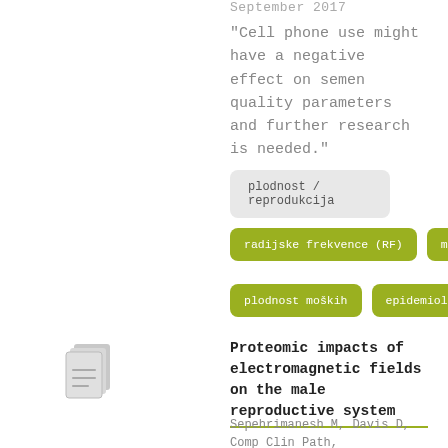September 2017
"Cell phone use might have a negative effect on semen quality parameters and further research is needed."
plodnost / reprodukcija
radijske frekvence (RF)
mikrovalovi
plodnost moških
epidemiologija
Proteomic impacts of electromagnetic fields on the male reproductive system
Sepehrimanesh M, Davis D, Comp Clin Path, marec 2017